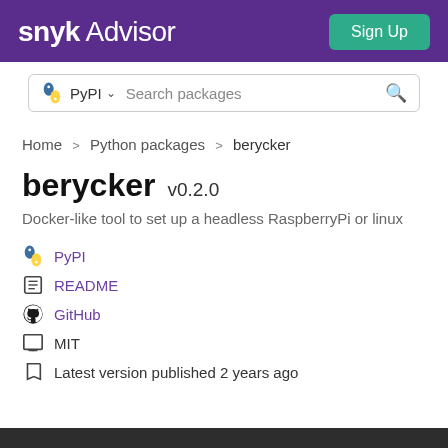snyk Advisor  Sign Up
[Figure (screenshot): PyPI package search bar with PyPI logo, dropdown arrow, and search icon]
Home > Python packages > berycker
berycker v0.2.0
Docker-like tool to set up a headless RaspberryPi or linux
PyPI
README
GitHub
MIT
Latest version published 2 years ago